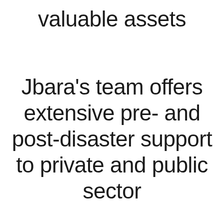valuable assets
Jbara's team offers extensive pre- and post-disaster support to private and public sector